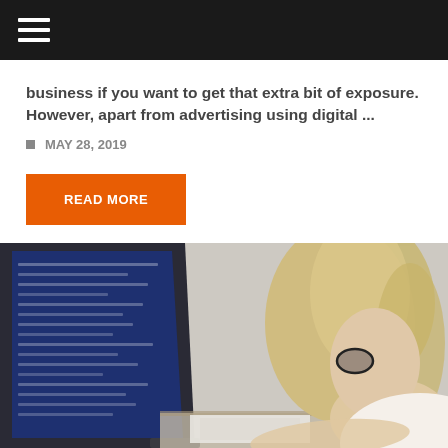Navigation menu
business if you want to get that extra bit of exposure. However, apart from advertising using digital ...
MAY 28, 2019
READ MORE
[Figure (photo): A woman with blonde hair and glasses sitting at a desk working on a large computer monitor. The photo shows her from behind/side profile, with the monitor's blue screen visible on the left side and a bright window in the background.]